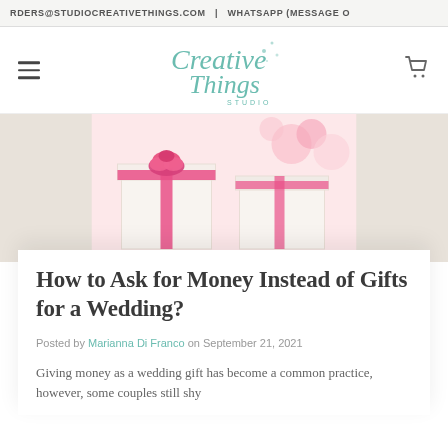ORDERS@STUDIOCREATIVETHINGS.COM | WHATSAPP (MESSAGE
[Figure (logo): Creative Things Studio logo in teal script font with decorative dots]
[Figure (photo): Photo of white gift boxes wrapped with pink ribbons and pink flowers on a light beige background]
How to Ask for Money Instead of Gifts for a Wedding?
Posted by Marianna Di Franco on September 21, 2021
Giving money as a wedding gift has become a common practice, however, some couples still shy